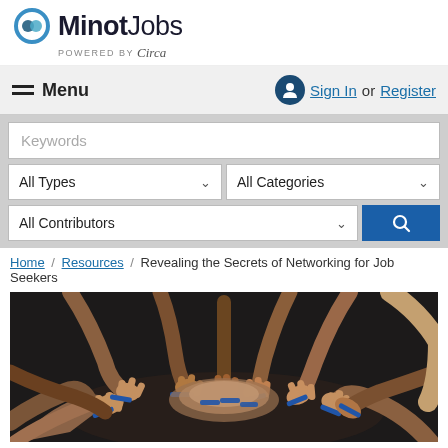MinotJobs powered by Circa
Menu
Sign In or Register
Keywords
All Types
All Categories
All Contributors
Home / Resources / Revealing the Secrets of Networking for Job Seekers
[Figure (photo): Group of people putting their hands together in a circle, viewed from above, wearing blue wristbands.]